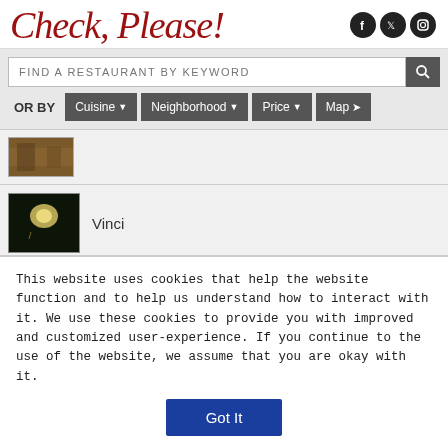Check, Please!
[Figure (screenshot): Social media icons: Facebook, Twitter, Instagram]
[Figure (screenshot): Search bar with placeholder 'FIND A RESTAURANT BY KEYWORD' and search button]
[Figure (screenshot): Filter bar with OR BY label, Cuisine dropdown, Neighborhood dropdown, Price dropdown, Map button]
[Figure (photo): Partially visible restaurant thumbnail image (brownish interior)]
[Figure (photo): Dark nighttime restaurant thumbnail image with light glow]
Vinci
Previous
More
This website uses cookies that help the website function and to help us understand how to interact with it. We use these cookies to provide you with improved and customized user-experience. If you continue to the use of the website, we assume that you are okay with it.
Got It